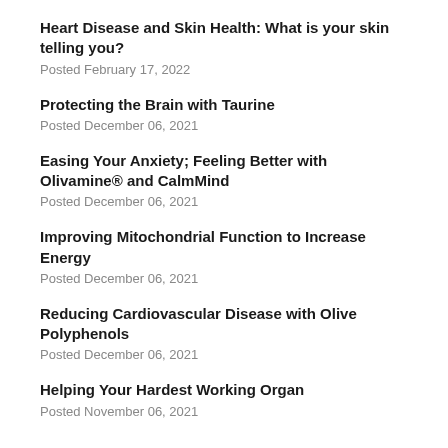Heart Disease and Skin Health: What is your skin telling you?
Posted February 17, 2022
Protecting the Brain with Taurine
Posted December 06, 2021
Easing Your Anxiety; Feeling Better with Olivamine® and CalmMind
Posted December 06, 2021
Improving Mitochondrial Function to Increase Energy
Posted December 06, 2021
Reducing Cardiovascular Disease with Olive Polyphenols
Posted December 06, 2021
Helping Your Hardest Working Organ
Posted November 06, 2021